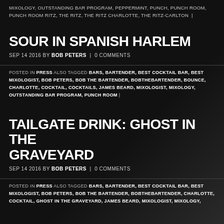MIXOLOGY, OUTSTANDING BAR PROGRAM, PEPPERMINT, PUNCH, PUNCH ROOM, PUNCH ROOM RITZ, THE RITZ, THE RITZ CHARLOTTE, THE RITZ-CARLTON |
SOUR IN SPANISH HARLEM
SEP 14 2016 BY BOB PETERS | 0 COMMENTS
POSTED IN PRESS ALSO TAGGED BARS, BARTENDER, BEST COCKTAIL BAR, BEST MIXOLOGIST, BOB PETERS, BOB THE BARTENDER, BOBTHEBARTENDER, BOUNCE, CHARLOTTE, COCKTAIL, COCKTAILS, JAMES BEARD, MIXOLOGIST, MIXOLOGY, OUTSTANDING BAR PROGRAM, PUNCH ROOM |
TAILGATE DRINK: GHOST IN THE GRAVEYARD
SEP 14 2016 BY BOB PETERS | 0 COMMENTS
POSTED IN PRESS ALSO TAGGED BARS, BARTENDER, BEST COCKTAIL BAR, BEST MIXOLOGIST, BOB PETERS, BOB THE BARTENDER, BOBTHEBARTENDER, CHARLOTTE, COCKTAIL, GHOST IN THE GRAVEYARD, JAMES BEARD, MIXOLOGIST, MIXOLOGY,